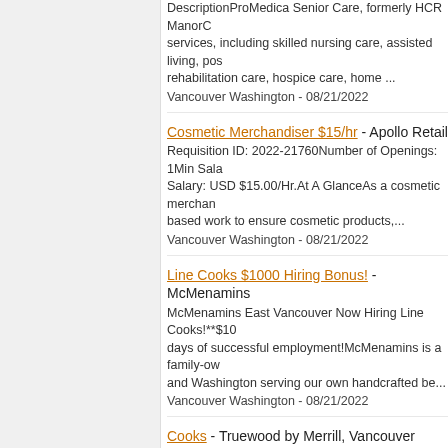DescriptionProMedica Senior Care, formerly HCR ManorCare services, including skilled nursing care, assisted living, post- rehabilitation care, hospice care, home ... Vancouver Washington - 08/21/2022
Cosmetic Merchandiser $15/hr - Apollo Retail Requisition ID: 2022-21760Number of Openings: 1Min Salary: USD $15.00/Hr.At A GlanceAs a cosmetic merchandiser, based work to ensure cosmetic products,... Vancouver Washington - 08/21/2022
Line Cooks $1000 Hiring Bonus! - McMenamins McMenamins East Vancouver Now Hiring Line Cooks!**$10 days of successful employment!McMenamins is a family-owned and Washington serving our own handcrafted be... Vancouver Washington - 08/21/2022
Cooks - Truewood by Merrill, Vancouver COOK - Grow your career with -Merrill Gardens! Merrill Gardens, family company with a proud history of success is currently by Merrill, Vancouver -in -Van... Vancouver Washington - 08/21/2022
H&M Cash Office Responsible (COR) - H&M Job DescriptionCompany Description This is H&M. Together possible.Working at the heart of a fast-paced fashion business, Responsible (COR) is responsible for the cash office... Vancouver Washington - 08/21/2022
Cook - Van Mall More than ever, employees are rethinking what work sho...